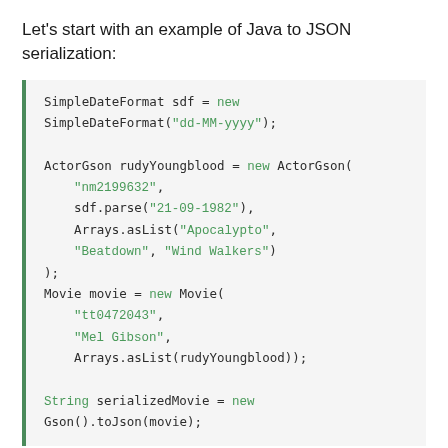Let's start with an example of Java to JSON serialization:
[Figure (screenshot): Java code block showing SimpleDateFormat and ActorGson object creation, Movie object creation, and JSON serialization using Gson().toJson()]
This will result in: